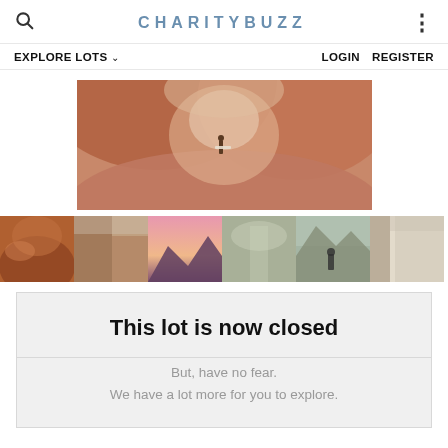CHARITYBUZZ
EXPLORE LOTS   LOGIN   REGISTER
[Figure (photo): Main photo of a red rock canyon with a person standing in the middle holding a surfboard]
[Figure (photo): Row of 6 thumbnail photos: desert rocks, canyon cliff, pink/purple sunset mountains, foggy forest trail, person looking at mountains, interior room]
This lot is now closed
But, have no fear.
We have a lot more for you to explore.